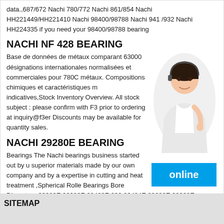data.,687/672 Nachi 780/772 Nachi 861/854 Nachi HH221449/HH221410 Nachi 98400/98788 Nachi 941 /932 Nachi HH224335 if you need your 98400/98788 bearing
NACHI NF 428 BEARING
Base de données de métaux comparant 63000 désignations internationales normalisées et commerciales pour 7800 métaux. Compositions chimiques et caractéristiques m indicatives,Stock Inventory Overview. All stock subject please confirm with F3 prior to ordering at inquiry@f3e Discounts may be available for quantity sales.
[Figure (photo): Customer service representative woman wearing headset, smiling, in white shirt, with online button below]
NACHI 29280E BEARING
Bearings The Nachi bearings business started out by u superior materials made by our own company and by a expertise in cutting and heat treatment ,Spherical Rolle Bearings Bore Diameter : 29280E 29380E 29480E 292 29484E 29288E 29388E 29488E 29292E 29392E 29492E 29296E 29396E
SITEMAP